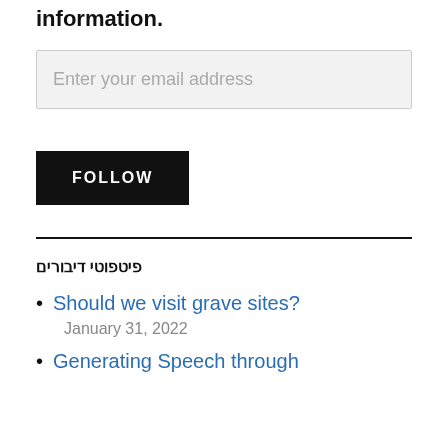information.
[Figure (screenshot): Email input field with placeholder text 'Enter your email address' on a light grey background with border]
[Figure (screenshot): Black FOLLOW button with white bold uppercase text]
פיטפוטי דיבורים
Should we visit grave sites?
January 31, 2022
Generating Speech through